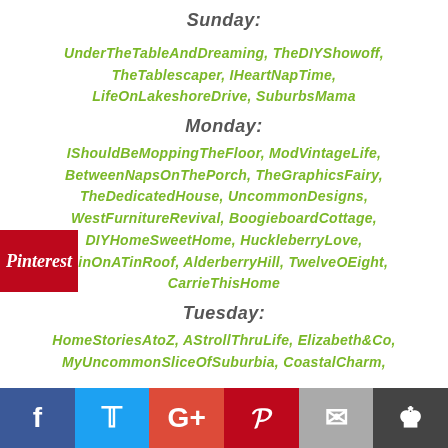Sunday:
UnderTheTableAndDreaming, TheDIYShowoff, TheTablescaper, IHeartNapTime, LifeOnLakeshoreDrive, SuburbsMama
Monday:
IShouldBeMoppingTheFloor, ModVintageLife, BetweenNapsOnThePorch, TheGraphicsFairy, TheDedicatedHouse, UncommonDesigns, WestFurnitureRevival, BoogieboardCottage, DIYHomeSweetHome, HuckleberryLove, RainOnATinRoof, AlderberryHill, TwelveOEight, CarrieThisHome
Tuesday:
HomeStoriesAtoZ, AStrollThruLife, Elizabeth&Co, MyUncommonSliceOfSuburbia, CoastalCharm,